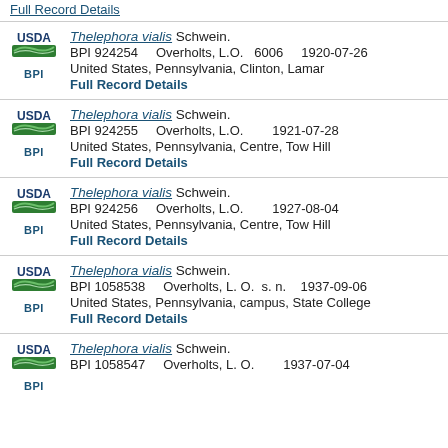Full Record Details
Thelephora vialis Schwein. BPI 924254 Overholts, L.O. 6006 1920-07-26 United States, Pennsylvania, Clinton, Lamar Full Record Details
Thelephora vialis Schwein. BPI 924255 Overholts, L.O. 1921-07-28 United States, Pennsylvania, Centre, Tow Hill Full Record Details
Thelephora vialis Schwein. BPI 924256 Overholts, L.O. 1927-08-04 United States, Pennsylvania, Centre, Tow Hill Full Record Details
Thelephora vialis Schwein. BPI 1058538 Overholts, L. O. s. n. 1937-09-06 United States, Pennsylvania, campus, State College Full Record Details
Thelephora vialis Schwein. BPI 1058547 Overholts, L. O. 1937-07-04